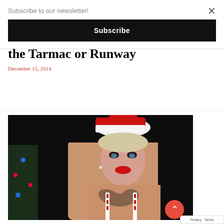Subscribe to our newsletter!
Subscribe
the Tarmac or Runway
December 15, 2014
[Figure (photo): Woman wearing a Santa hat and festive outfit with tattoos, standing near a Christmas tree with a dark background]